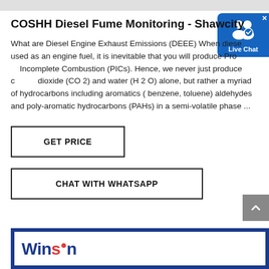COSHH Diesel Fume Monitoring - Shawcity
What are Diesel Engine Exhaust Emissions (DEEE) When diesel used as an engine fuel, it is inevitable that you will produce Products of Incomplete Combustion (PICs). Hence, we never just produce carbon dioxide (CO 2) and water (H 2 O) alone, but rather a myriad of hydrocarbons including aromatics ( benzene, toluene) aldehydes and poly-aromatic hydrocarbons (PAHs) in a semi-volatile phase ...
GET PRICE
CHAT WITH WHATSAPP
[Figure (logo): Winsen company logo in blue and red on white background with blue border banner]
[Figure (infographic): Live Chat bubble with user icon, checkmark, and 'Live Chat' label on blue background with X close button]